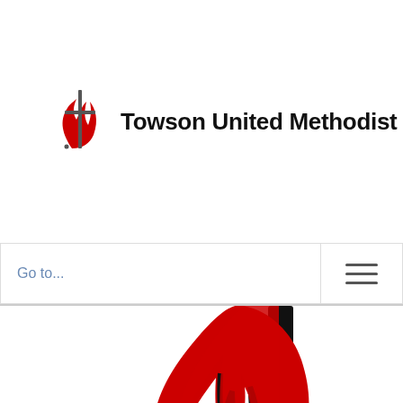[Figure (logo): Towson United Methodist Church logo with cross and flame symbol and church name text]
Go to...
[Figure (logo): Large United Methodist Church cross and flame logo, cropped, showing red flame and black cross]